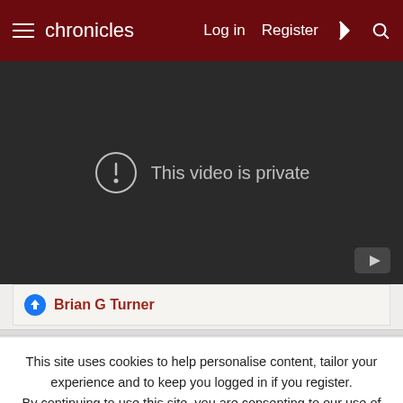chronicles   Log in   Register
[Figure (screenshot): Video player showing 'This video is private' message with exclamation icon on dark background, YouTube icon in bottom right corner]
Brian G Turner
This site uses cookies to help personalise content, tailor your experience and to keep you logged in if you register.
By continuing to use this site, you are consenting to our use of cookies.
Accept   Learn more...